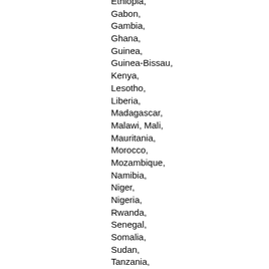Ethiopia,
Gabon,
Gambia,
Ghana,
Guinea,
Guinea-Bissau,
Kenya,
Lesotho,
Liberia,
Madagascar,
Malawi, Mali,
Mauritania,
Morocco,
Mozambique,
Namibia,
Niger,
Nigeria,
Rwanda,
Senegal,
Somalia,
Sudan,
Tanzania,
Togo,
Tunisia,